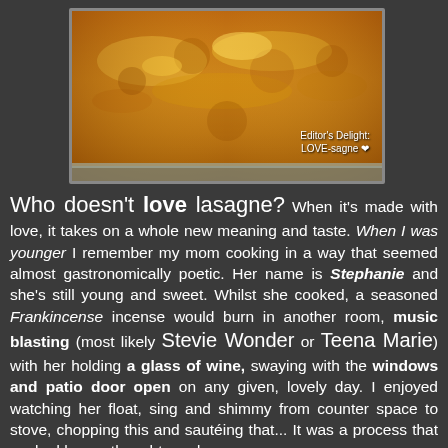[Figure (photo): A baked lasagne dish fresh from the oven, golden brown cheesy top, in a glass casserole dish. Caption reads: Editor's Delight: LOVE-sagne ❤]
Editor's Delight: LOVE-sagne ❤
Who doesn't love lasagne? When it's made with love, it takes on a whole new meaning and taste. When I was younger I remember my mom cooking in a way that seemed almost gastronomically poetic. Her name is Stephanie and she's still young and sweet. Whilst she cooked, a seasoned Frankincense incense would burn in another room, music blasting (most likely Stevie Wonder or Teena Marie) with her holding a glass of wine, swaying with the windows and patio door open on any given, lovely day. I enjoyed watching her float, sing and shimmy from counter space to stove, chopping this and sautéing that... It was a process that evoked happy thoughts and